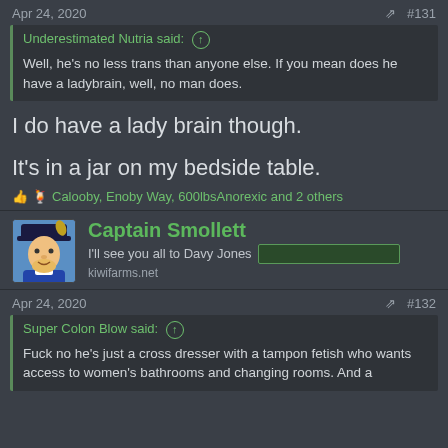Apr 24, 2020  #131
Underestimated Nutria said: ↑
Well, he's no less trans than anyone else. If you mean does he have a ladybrain, well, no man does.
I do have a lady brain though.
It's in a jar on my bedside table.
Calooby, Enoby Way, 600lbsAnorexic and 2 others
[Figure (screenshot): User avatar for Captain Smollett - cartoon pirate captain character]
Captain Smollett
I'll see you all to Davy Jones [redacted]
kiwifarms.net
Apr 24, 2020  #132
Super Colon Blow said: ↑
Fuck no he's just a cross dresser with a tampon fetish who wants access to women's bathrooms and changing rooms. And a